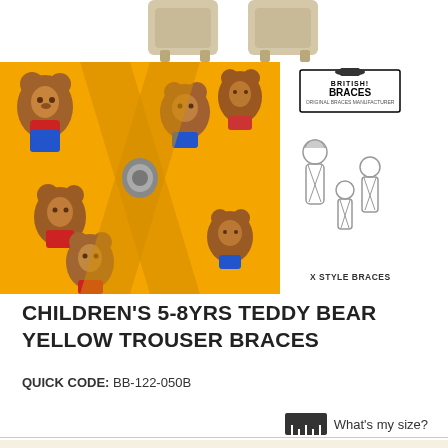[Figure (photo): Top clips/hardware of children's yellow teddy bear trouser braces, two beige/cream metal clips visible at top]
[Figure (photo): Main product image: yellow fabric with colorful teddy bear pattern forming X-style braces, alongside British Braces brand diagram showing X style braces design when worn]
CHILDREN'S 5-8YRS TEDDY BEAR YELLOW TROUSER BRACES
QUICK CODE: BB-122-050B
What's my size?